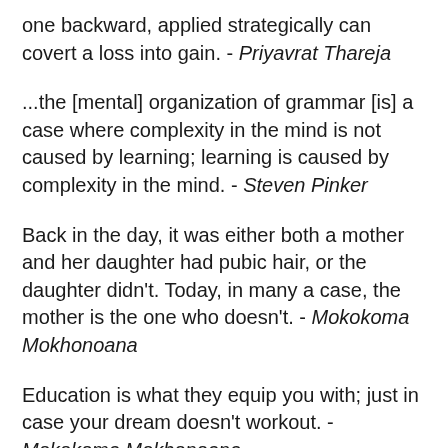one backward, applied strategically can covert a loss into gain. - Priyavrat Thareja
...the [mental] organization of grammar [is] a case where complexity in the mind is not caused by learning; learning is caused by complexity in the mind. - Steven Pinker
Back in the day, it was either both a mother and her daughter had pubic hair, or the daughter didn't. Today, in many a case, the mother is the one who doesn't. - Mokokoma Mokhonoana
Education is what they equip you with; just in case your dream doesn't workout. - Mokokoma Mokhonoana